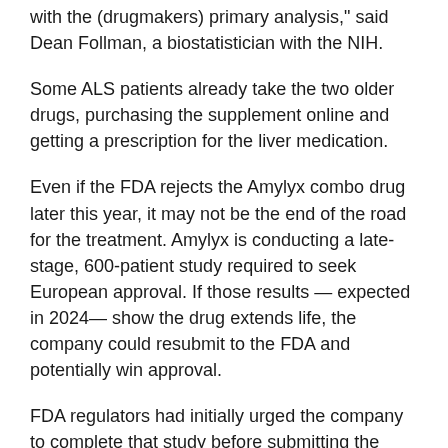with the (drugmakers) primary analysis, said Dean Follman, a biostatistician with the NIH.
Some ALS patients already take the two older drugs, purchasing the supplement online and getting a prescription for the liver medication.
Even if the FDA rejects the Amylyx combo drug later this year, it may not be the end of the road for the treatment. Amylyx is conducting a late-stage, 600-patient study required to seek European approval. If those results — expected in 2024— show the drug extends life, the company could resubmit to the FDA and potentially win approval.
FDA regulators had initially urged the company to complete that study before submitting the drug.
Wednesday's meeting marked the first time FDA had convened this advisory panel since disregarding its advice last June and approving Biogen's Alzheimer's drug...